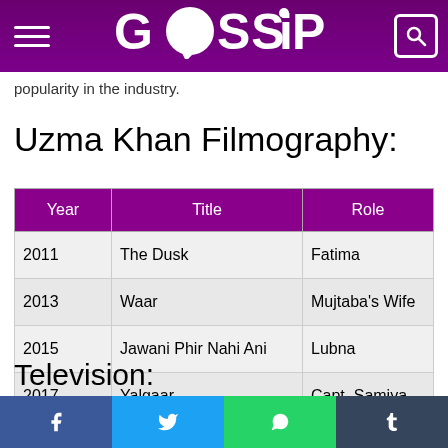GOSSIP
popularity in the industry.
Uzma Khan Filmography:
| Year | Title | Role |
| --- | --- | --- |
| 2011 | The Dusk | Fatima |
| 2013 | Waar | Mujtaba’s Wife |
| 2015 | Jawani Phir Nahi Ani | Lubna |
| 2017 | Yalgaar | Capt. Samiya |
| 2018 | Jawani Phir Nahi Ani 2 | Lubna |
Television: